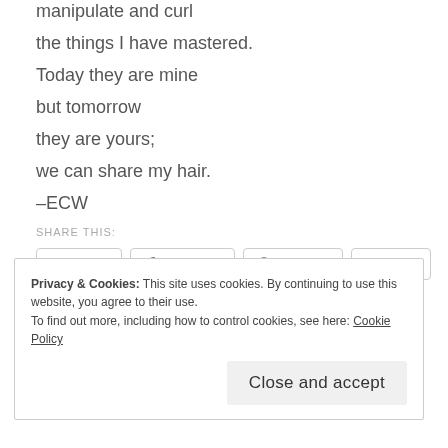manipulate and curl
the things I have mastered.
Today they are mine

but tomorrow

they are yours;

we can share my hair.

–ECW
SHARE THIS:
[Figure (other): Social share buttons: Twitter, Facebook, Pinterest, Email]
Loading...
Privacy & Cookies: This site uses cookies. By continuing to use this website, you agree to their use.
To find out more, including how to control cookies, see here: Cookie Policy
Close and accept